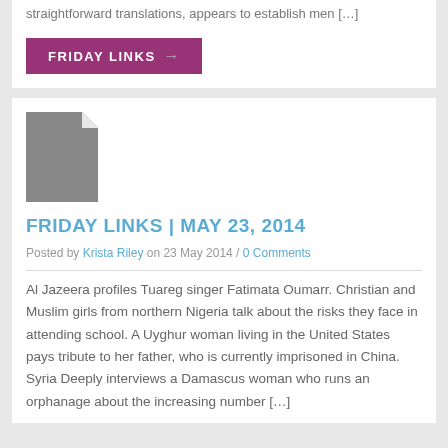straightforward translations, appears to establish men […]
FRIDAY LINKS
[Figure (illustration): Gray document/file placeholder icon with folded corner]
FRIDAY LINKS | MAY 23, 2014
Posted by Krista Riley on 23 May 2014 / 0 Comments
Al Jazeera profiles Tuareg singer Fatimata Oumarr. Christian and Muslim girls from northern Nigeria talk about the risks they face in attending school. A Uyghur woman living in the United States pays tribute to her father, who is currently imprisoned in China. Syria Deeply interviews a Damascus woman who runs an orphanage about the increasing number […]